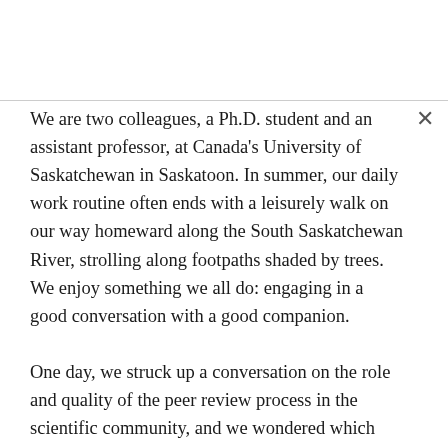We are two colleagues, a Ph.D. student and an assistant professor, at Canada's University of Saskatchewan in Saskatoon. In summer, our daily work routine often ends with a leisurely walk on our way homeward along the South Saskatchewan River, strolling along footpaths shaded by trees. We enjoy something we all do: engaging in a good conversation with a good companion.
One day, we struck up a conversation on the role and quality of the peer review process in the scientific community, and we wondered which peer review system is the best. As we continued this conversation, we realized several differing ideas